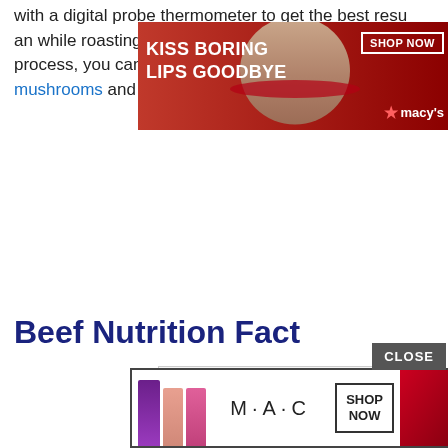with a digital probe thermometer to get the best results. an while roasting. A few minutes after the roasting process, you can serve your beef with a side dish of mushrooms and green beans.
[Figure (photo): Macy's advertisement banner: KISS BORING LIPS GOODBYE with a woman's face with red lipstick, SHOP NOW button, and Macy's star logo]
Beef Nutrition Fact
|  | % Daily Value* |
| --- | --- |
| Amount Per 100 grams |  |
| Calories 250 |  |
|  | % Daily Value* |
| Total Fat 15 g | 23% |
| Saturated fat 6 g | 30% |
| Trans fat regulation 1.1 g |  |
| Cholesterol 90 mg | 30% |
[Figure (photo): M·A·C cosmetics advertisement with colorful lipsticks and SHOP NOW button]